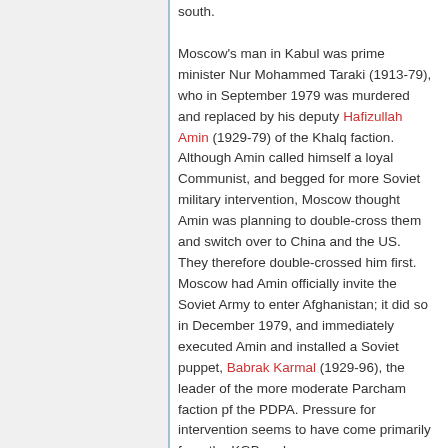south. Moscow's man in Kabul was prime minister Nur Mohammed Taraki (1913-79), who in September 1979 was murdered and replaced by his deputy Hafizullah Amin (1929-79) of the Khalq faction. Although Amin called himself a loyal Communist, and begged for more Soviet military intervention, Moscow thought Amin was planning to double-cross them and switch over to China and the US. They therefore double-crossed him first. Moscow had Amin officially invite the Soviet Army to enter Afghanistan; it did so in December 1979, and immediately executed Amin and installed a Soviet puppet, Babrak Karmal (1929-96), the leader of the more moderate Parcham faction pf the PDPA. Pressure for intervention seems to have come primarily from the KGB and...